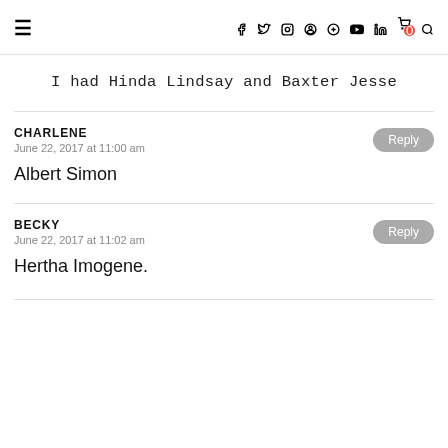≡  f  🐦  📷  P  G+  ▶  in  🛒(0)  🔍
I had Hinda Lindsay and Baxter Jesse
CHARLENE
June 22, 2017 at 11:00 am
Albert Simon
BECKY
June 22, 2017 at 11:02 am
Hertha Imogene.